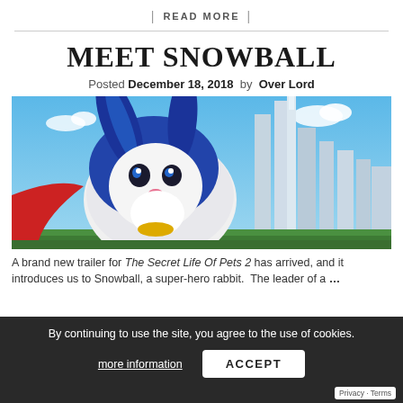| READ MORE |
MEET SNOWBALL
Posted December 18, 2018  by  Over Lord
[Figure (illustration): Animated movie still showing a blue superhero rabbit character in a costume with a city skyline behind it, from The Secret Life of Pets 2]
A brand new trailer for The Secret Life Of Pets 2 has arrived, and it introduces us to Snowball, a super-hero rabbit.  The leader of a ...
By continuing to use the site, you agree to the use of cookies.
more information   ACCEPT